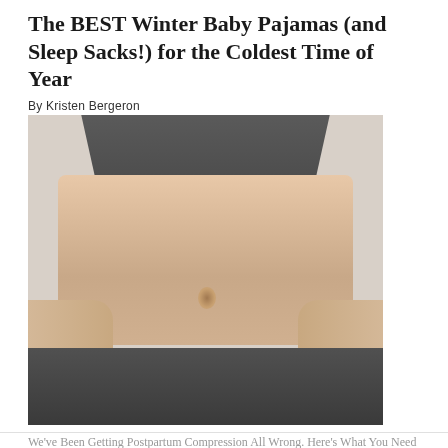The BEST Winter Baby Pajamas (and Sleep Sacks!) for the Coldest Time of Year
By Kristen Bergeron
August 16, 2022
[Figure (photo): A person's midsection showing a postpartum belly/abdomen, wearing a dark grey sports bra top and dark grey high-waisted bottoms, hands on hips, against a light background]
We've Been Getting Postpartum Compression All Wrong. Here's What You Need to Know.